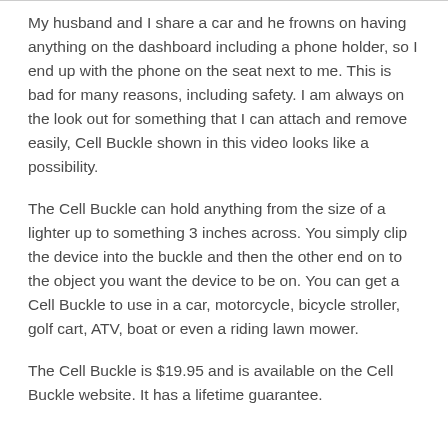My husband and I share a car and he frowns on having anything on the dashboard including a phone holder, so I end up with the phone on the seat next to me. This is bad for many reasons, including safety. I am always on the look out for something that I can attach and remove easily, Cell Buckle shown in this video looks like a possibility.
The Cell Buckle can hold anything from the size of a lighter up to something 3 inches across. You simply clip the device into the buckle and then the other end on to the object you want the device to be on. You can get a Cell Buckle to use in a car, motorcycle, bicycle stroller, golf cart, ATV, boat or even a riding lawn mower.
The Cell Buckle is $19.95 and is available on the Cell Buckle website. It has a lifetime guarantee.